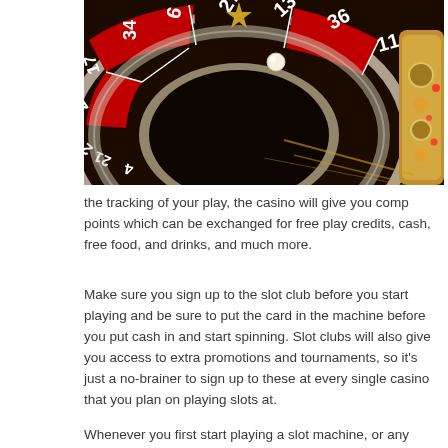[Figure (photo): Close-up photograph of a casino roulette wheel in motion, showing numbered red and black sections with numbers visible including 27, 13, 36, 11, 34, 6, 25, 47, 2, 21, and others. A white ball rests in the wheel. The wheel has gold and chrome metallic trim and is set against a dark background.]
the tracking of your play, the casino will give you comp points which can be exchanged for free play credits, cash, free food, and drinks, and much more.
Make sure you sign up to the slot club before you start playing and be sure to put the card in the machine before you put cash in and start spinning. Slot clubs will also give you access to extra promotions and tournaments, so it’s just a no-brainer to sign up to these at every single casino that you plan on playing slots at.
Whenever you first start playing a slot machine, or any casino